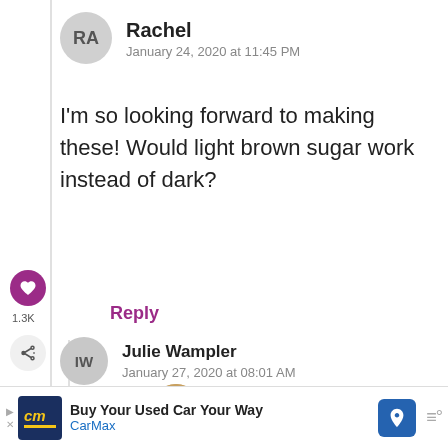RA
Rachel
January 24, 2020 at 11:45 PM
I'm so looking forward to making these! Would light brown sugar work instead of dark?
1.3K
Reply
IW
Julie Wampler
January 27, 2020 at 08:01 AM
yep!
WHAT'S NEXT → White Chocolate...
Buy Your Used Car Your Way CarMax